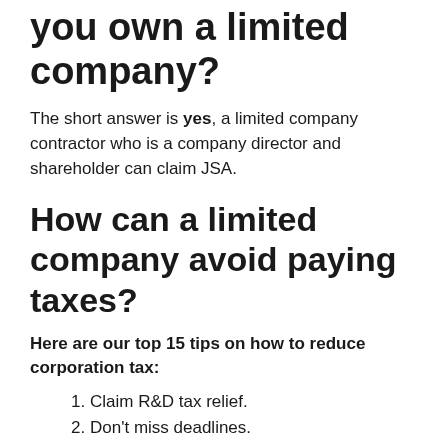you own a limited company?
The short answer is yes, a limited company contractor who is a company director and shareholder can claim JSA.
How can a limited company avoid paying taxes?
Here are our top 15 tips on how to reduce corporation tax:
1. Claim R&D tax relief.
2. Don't miss deadlines.
3. Invest in plant & machinery.
4. Capital allowances on Property.
5. Director Salary...